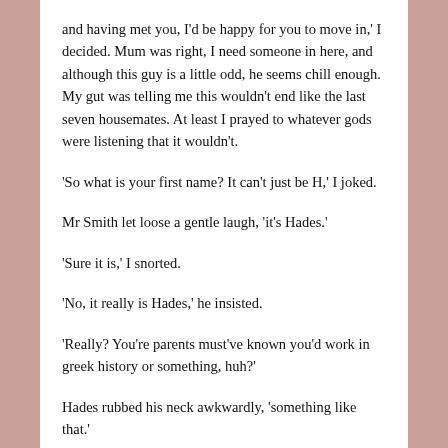and having met you, I'd be happy for you to move in,' I decided. Mum was right, I need someone in here, and although this guy is a little odd, he seems chill enough. My gut was telling me this wouldn't end like the last seven housemates. At least I prayed to whatever gods were listening that it wouldn't.
'So what is your first name? It can't just be H,' I joked.
Mr Smith let loose a gentle laugh, 'it's Hades.'
'Sure it is,' I snorted.
'No, it really is Hades,' he insisted.
'Really? You're parents must've known you'd work in greek history or something, huh?'
Hades rubbed his neck awkwardly, 'something like that.'